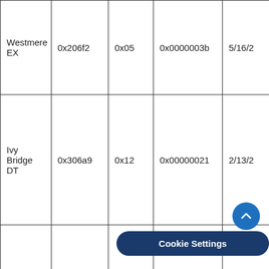| Westmere EX | 0x206f2 | 0x05 | 0x0000003b | 5/16/2... |
| Ivy Bridge DT | 0x306a9 | 0x12 | 0x00000021 | 2/13/2... |
| Haswell DT | 0x306c3 | 0x32 | 0x00000027 | 2/26/2... |
|  |  |  |  |  |